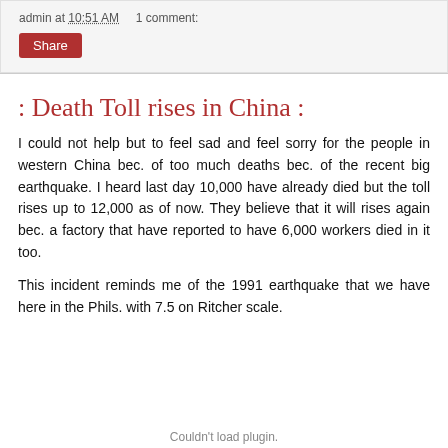admin at 10:51 AM    1 comment:
Share
: Death Toll rises in China :
I could not help but to feel sad and feel sorry for the people in western China bec. of too much deaths bec. of the recent big earthquake. I heard last day 10,000 have already died but the toll rises up to 12,000 as of now. They believe that it will rises again bec. a factory that have reported to have 6,000 workers died in it too.
This incident reminds me of the 1991 earthquake that we have here in the Phils. with 7.5 on Ritcher scale.
Couldn't load plugin.